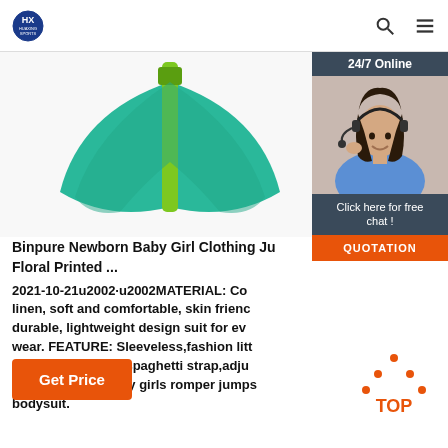HUAXING SPORTS
[Figure (photo): Green mermaid fin / swim fin product photo on white background]
[Figure (photo): 24/7 Online customer service widget showing a woman with headset, with 'Click here for free chat!' and 'QUOTATION' button]
Binpure Newborn Baby Girl Clothing Ju Floral Printed ...
2021-10-21u2002·u2002MATERIAL: Co linen, soft and comfortable, skin frienc durable, lightweight design suit for ev wear. FEATURE: Sleeveless,fashion litt print,cround neck,spaghetti strap,adju strap,newborn baby girls romper jumps bodysuit.
Get Price
[Figure (logo): Orange TOP arrow/logo in bottom right corner]